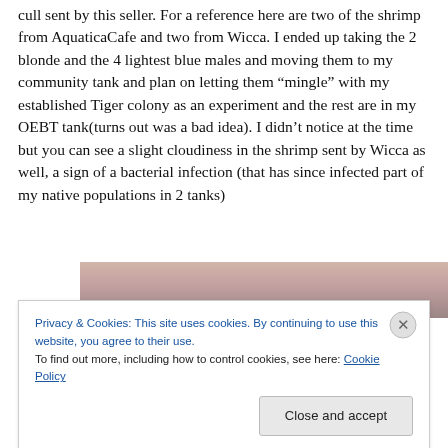cull sent by this seller. For a reference here are two of the shrimp from AquaticaCafe and two from Wicca. I ended up taking the 2 blonde and the 4 lightest blue males and moving them to my community tank and plan on letting them “mingle” with my established Tiger colony as an experiment and the rest are in my OEBT tank(turns out was a bad idea). I didn’t notice at the time but you can see a slight cloudiness in the shrimp sent by Wicca as well, a sign of a bacterial infection (that has since infected part of my native populations in 2 tanks)
[Figure (photo): Partial photo of shrimp visible at top, mostly obscured by cookie banner overlay]
Privacy & Cookies: This site uses cookies. By continuing to use this website, you agree to their use.
To find out more, including how to control cookies, see here: Cookie Policy
Close and accept